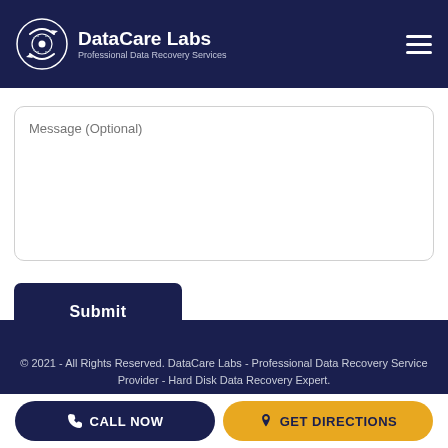DataCare Labs - Professional Data Recovery Services
[Figure (screenshot): Message (Optional) textarea input field with rounded border]
[Figure (screenshot): Submit button, dark navy background with white bold text]
© 2021 - All Rights Reserved. DataCare Labs - Professional Data Recovery Service Provider - Hard Disk Data Recovery Expert.
[Figure (screenshot): Bottom action bar with CALL NOW button (dark navy) and GET DIRECTIONS button (golden/amber)]